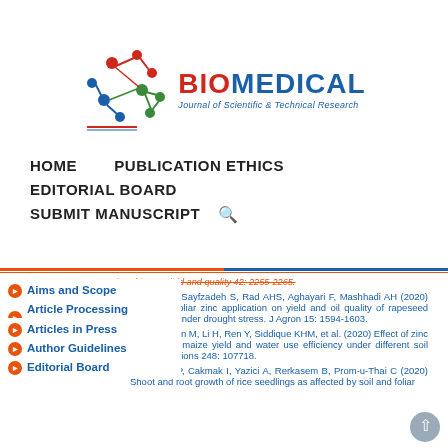[Figure (logo): Biomedical Journal of Scientific & Technical Research logo with DNA/molecule graphic in red, green, blue on the left and BIOMEDICAL text in bold red/blue with subtitle in blue]
HOME   PUBLICATION ETHICS
EDITORIAL BOARD
SUBMIT MANUSCRIPT 🔍
Aims and Scope
Article Processing Charges
Articles in Press
Author Guidelines
Editorial Board
Pistachio nut yield and quality 42: 2255-2265.
51. Ashkiani A, Sayfzadeh S, Rad AHS, Aghayari F, Mashhadi AH (2020) Effects of foliar zinc application on yield and oil quality of rapeseed genotypes under drought stress. J Agron 15: 1594-1603.
52. Zhang L, Yan M, Li H, Ren Y, Siddique KHM, et al. (2020) Effect of zinc fertilizer on maize yield and water use efficiency under different soil water conditions 248: 107718.
53. Phuphong P, Cakmak I, Yazici A, Rerkasem B, Prom-u-Thai C (2020) Shoot and root growth of rice seedlings as affected by soil and foliar